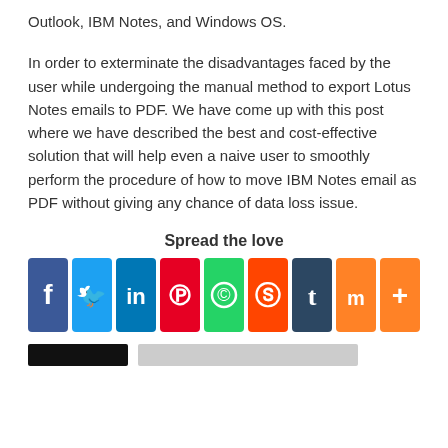Outlook, IBM Notes, and Windows OS.
In order to exterminate the disadvantages faced by the user while undergoing the manual method to export Lotus Notes emails to PDF. We have come up with this post where we have described the best and cost-effective solution that will help even a naive user to smoothly perform the procedure of how to move IBM Notes email as PDF without giving any chance of data loss issue.
Spread the love
[Figure (infographic): Social sharing buttons: Facebook (blue), Twitter (light blue), LinkedIn (dark blue), Pinterest (red), WhatsApp (green), Reddit (orange-red), Tumblr (dark navy), Mix (orange), More (orange with plus)]